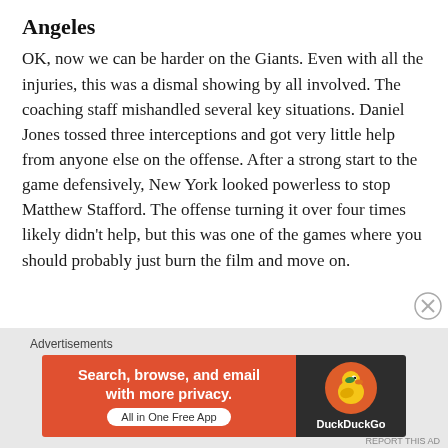Angeles
OK, now we can be harder on the Giants. Even with all the injuries, this was a dismal showing by all involved. The coaching staff mishandled several key situations. Daniel Jones tossed three interceptions and got very little help from anyone else on the offense. After a strong start to the game defensively, New York looked powerless to stop Matthew Stafford. The offense turning it over four times likely didn’t help, but this was one of the games where you should probably just burn the film and move on.
[Figure (other): DuckDuckGo advertisement banner: orange left panel with bold white text 'Search, browse, and email with more privacy.' and 'All in One Free App' button; dark right panel with DuckDuckGo logo and brand name.]